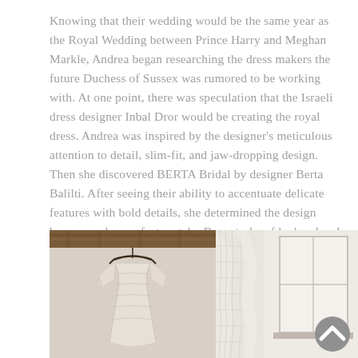Knowing that their wedding would be the same year as the Royal Wedding between Prince Harry and Meghan Markle, Andrea began researching the dress makers the future Duchess of Sussex was rumored to be working with. At one point, there was speculation that the Israeli dress designer Inbal Dror would be creating the royal dress. Andrea was inspired by the designer's meticulous attention to detail, slim-fit, and jaw-dropping design.  Then she discovered BERTA Bridal by designer Berta Balilti. After seeing their ability to accentuate delicate features with bold details, she determined the design house was her perfect match.  By a stroke of luck, a local wedding dress boutique was hosting a trunk show featuring BERTA Bridal's gowns. She fell in love with the first dress she tried on!
[Figure (photo): Two side-by-side photos of a wedding dress. Left photo shows a lace wedding gown hanging from a wooden ceiling beam on a decorative hanger. Right photo shows a close-up of the lace and tulle of the gown near a bright window.]